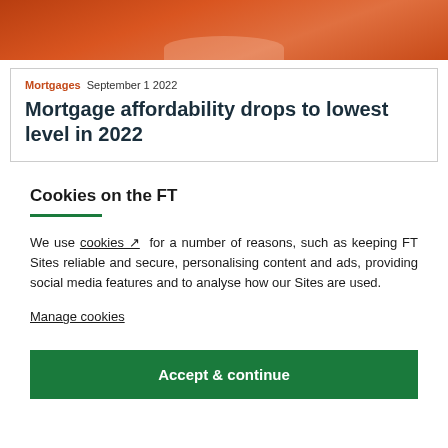[Figure (photo): Hero image with orange/warm toned photo, partially visible person smiling]
Mortgages September 1 2022
Mortgage affordability drops to lowest level in 2022
Cookies on the FT
We use cookies [external link icon] for a number of reasons, such as keeping FT Sites reliable and secure, personalising content and ads, providing social media features and to analyse how our Sites are used.
Manage cookies
Accept & continue